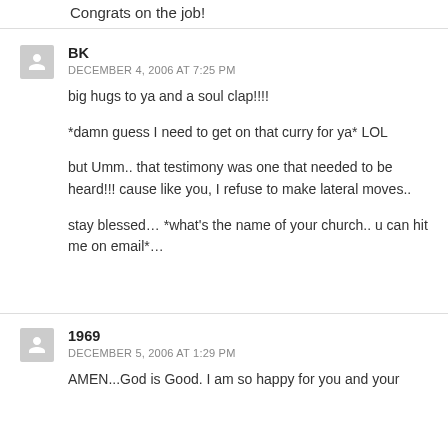Congrats on the job!
BK
DECEMBER 4, 2006 AT 7:25 PM
big hugs to ya and a soul clap!!!!

*damn guess I need to get on that curry for ya* LOL

but Umm.. that testimony was one that needed to be heard!!! cause like you, I refuse to make lateral moves..

stay blessed... *what’s the name of your church.. u can hit me on email*...
1969
DECEMBER 5, 2006 AT 1:29 PM
AMEN...God is Good. I am so happy for you and your